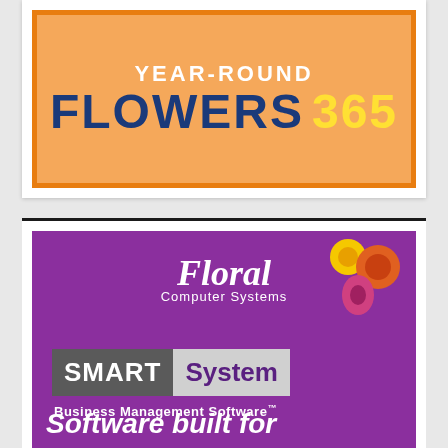[Figure (logo): Advertisement banner with orange background and orange border. Text reads 'YEAR-ROUND' in white, 'FLOWERS' in dark blue bold, '365' in yellow bold.]
[Figure (logo): Advertisement for Floral Computer Systems SMARTSystem Business Management Software on purple background with flower imagery. Text includes 'Floral Computer Systems', 'SMARTSystem', 'Business Management Software', and 'Software built for'.]